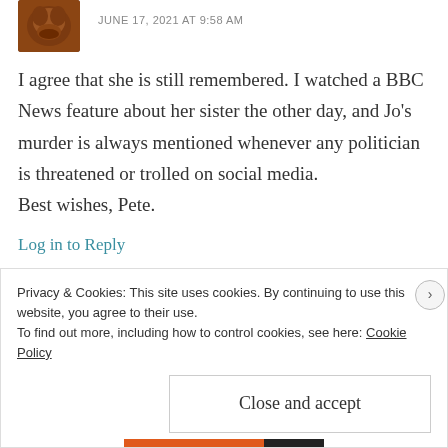JUNE 17, 2021 AT 9:58 AM
I agree that she is still remembered. I watched a BBC News feature about her sister the other day, and Jo's murder is always mentioned whenever any politician is threatened or trolled on social media.
Best wishes, Pete.
Log in to Reply
Leave a Reply
Privacy & Cookies: This site uses cookies. By continuing to use this website, you agree to their use.
To find out more, including how to control cookies, see here: Cookie Policy
Close and accept